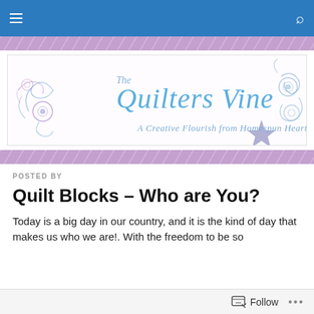Navigation bar with hamburger menu and search icon
[Figure (logo): The Quilters Vine – A Creative Flourish from Homespun Hearth logo with decorative blue and purple floral scroll design]
POSTED BY
Quilt Blocks – Who are You?
Today is a big day in our country, and it is the kind of day that makes us who we are!. With the freedom to be so...
Follow